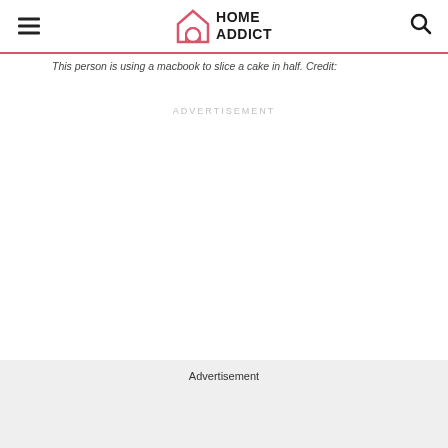HOME ADDICT
This person is using a macbook to slice a cake in half. Credit:
ADVERTISEMENT
Advertisement